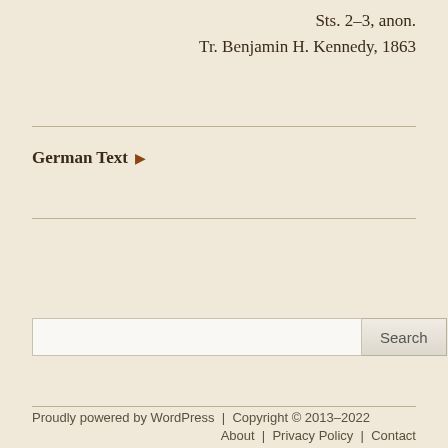Sts. 2–3, anon.
Tr. Benjamin H. Kennedy, 1863
German Text ▶
Search
Proudly powered by WordPress | Copyright © 2013–2022
About | Privacy Policy | Contact